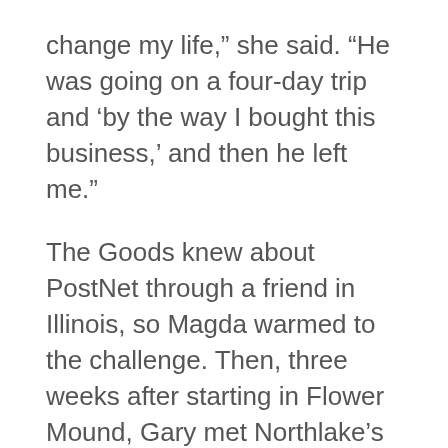change my life,” she said. “He was going on a four-day trip and ‘by the way I bought this business,’ and then he left me.”
The Goods knew about PostNet through a friend in Illinois, so Magda warmed to the challenge. Then, three weeks after starting in Flower Mound, Gary met Northlake’s developer who said they were looking for a mail service provider after it was denied its own post office.